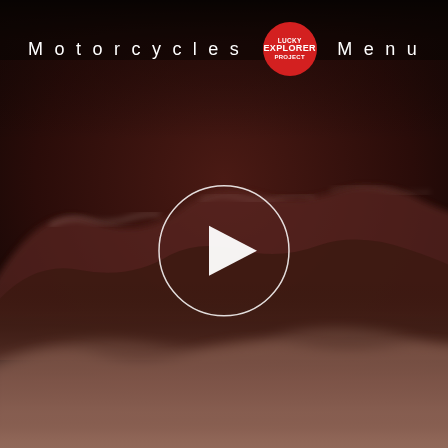[Figure (screenshot): Dark moody background image showing a mountainous desert landscape with blurred foreground, brownish-red dark tones. A motorcycle or terrain is partially visible. This is a website screenshot for 'Lucky Explorer Project' motorcycles page with a video play button overlay.]
Motorcycles
[Figure (logo): Red circular logo with text 'LUCKY EXPLORER PROJECT' in white]
Menu
[Figure (other): White circular play button icon (circle outline with right-pointing triangle inside) centered on the page]